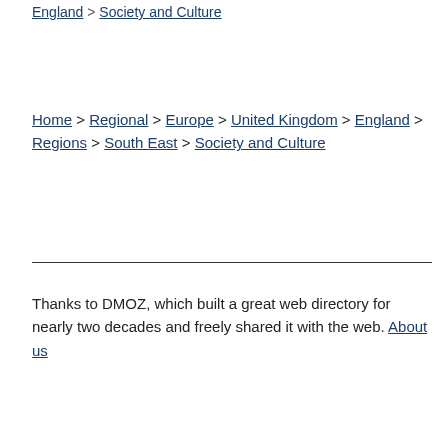… > Regional > Europe > United Kingdom > England > Society and Culture
Home > Regional > Europe > United Kingdom > England > Regions > South East > Society and Culture
Thanks to DMOZ, which built a great web directory for nearly two decades and freely shared it with the web. About us